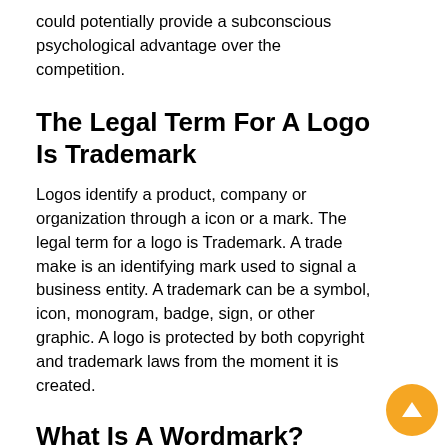could potentially provide a subconscious psychological advantage over the competition.
The Legal Term For A Logo Is Trademark
Logos identify a product, company or organization through a icon or a mark. The legal term for a logo is Trademark. A trade make is an identifying mark used to signal a business entity. A trademark can be a symbol, icon, monogram, badge, sign, or other graphic. A logo is protected by both copyright and trademark laws from the moment it is created.
What Is A Wordmark?
A wordmark, also known as, logotype is a distinctive text-only typographic treatment of the letters in the name of the product, company or organization. Simply put, wordmarks are a typographic logos. Typographic logos lend themselves to the name of a visible association or